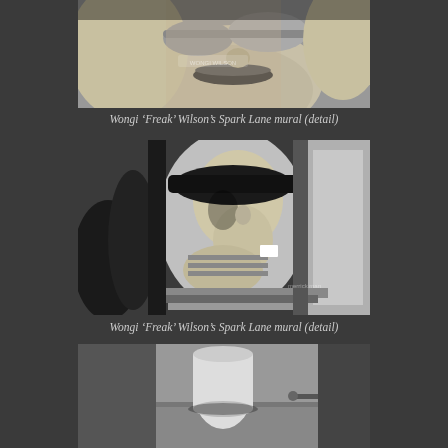[Figure (photo): Black and white close-up detail of Wongi 'Freak' Wilson's Spark Lane mural showing a face with lips and sunglasses]
Wongi ‘Freak’ Wilson’s Spark Lane mural (detail)
[Figure (photo): Black and white photo of Wongi 'Freak' Wilson's Spark Lane mural showing a stylized metallic female figure with sunglasses in a street setting]
Wongi ‘Freak’ Wilson’s Spark Lane mural (detail)
[Figure (photo): Partial view of another image at the bottom of the page, appears to show a cylindrical object on a surface]